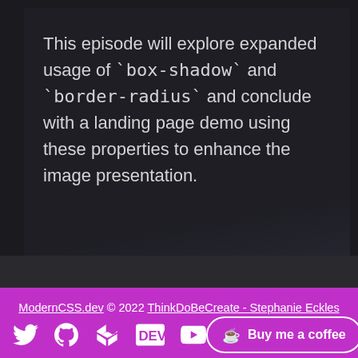This episode will explore expanded usage of `box-shadow` and `border-radius` and conclude with a landing page demo using these properties to enhance the image presentation.
ModernCSS.dev © 2022 ThinkDoBeCreate - Stephanie Eckles